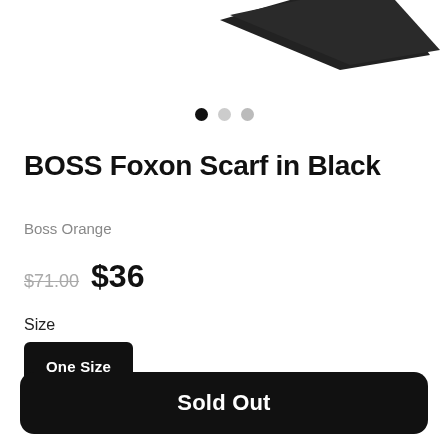[Figure (photo): Partial view of a black scarf product image, cropped at top of page]
[Figure (infographic): Three pagination dots: first dot black (active), second and third dots gray]
BOSS Foxon Scarf in Black
Boss Orange
$71.00  $36
Size
One Size
Sold Out